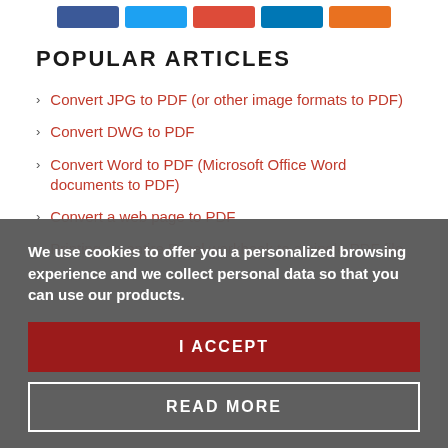[Figure (other): Row of five social sharing icon buttons: Facebook (dark blue), Twitter (light blue), Google+ (red), LinkedIn (dark blue), Pinterest (orange)]
POPULAR ARTICLES
Convert JPG to PDF (or other image formats to PDF)
Convert DWG to PDF
Convert Word to PDF (Microsoft Office Word documents to PDF)
Convert a web page to PDF
Printing an entire Excel workbook to a single PDF file
We use cookies to offer you a personalized browsing experience and we collect personal data so that you can use our products.
I ACCEPT
READ MORE